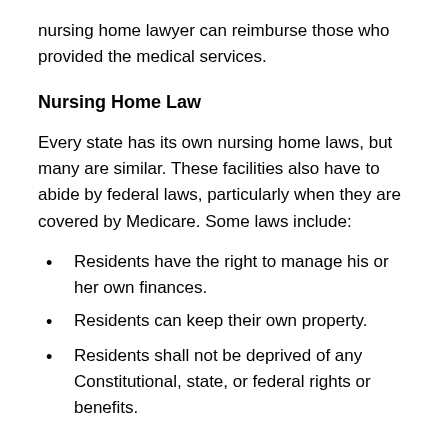nursing home lawyer can reimburse those who provided the medical services.
Nursing Home Law
Every state has its own nursing home laws, but many are similar. These facilities also have to abide by federal laws, particularly when they are covered by Medicare. Some laws include:
Residents have the right to manage his or her own finances.
Residents can keep their own property.
Residents shall not be deprived of any Constitutional, state, or federal rights or benefits.